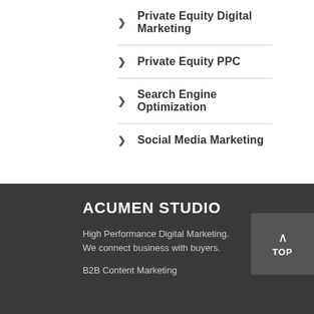Private Equity Digital Marketing
Private Equity PPC
Search Engine Optimization
Social Media Marketing
ACUMEN STUDIO
High Performance Digital Marketing. We connect business with buyers.
B2B Content Marketing